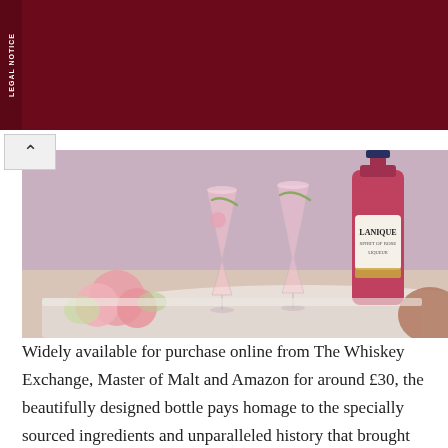[Figure (other): Legal notice advertisement banner with dark red background. Title: 'ZIGNATURE SETTLEMENT' in yellow. Body text: 'If you purchased certain Zignature pet food products labeled as "grain free" or "chicken free," you may be eligible for benefits'. Sidebar label says 'LEGAL NOTICE'.]
[Figure (photo): Photo of Lanique rose spirit bottle (pink/red liquid) alongside two wine glasses filled with pink cocktails garnished with cucumber and flowers, with pink roses on a marble table.]
Widely available for purchase online from The Whiskey Exchange, Master of Malt and Amazon for around £30, the beautifully designed bottle pays homage to the specially sourced ingredients and unparalleled history that brought Lanique to life. Antique gold reflects the priceless Attar of Rose, and royal blue tones are a nod to